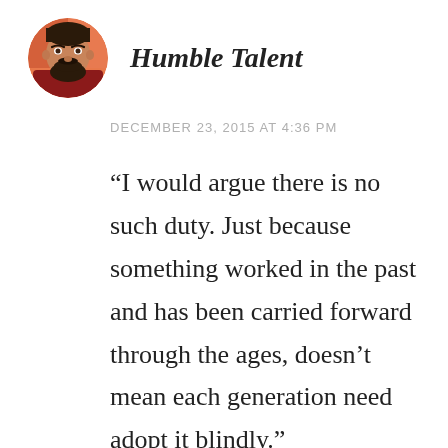[Figure (photo): Circular avatar photo of a bearded man with dark hair, illustrated/comic-art style, wearing a dark red shirt, orange and red background]
Humble Talent
DECEMBER 23, 2015 AT 4:36 PM
“I would argue there is no such duty. Just because something worked in the past and has been carried forward through the ages, doesn’t mean each generation need adopt it blindly.”